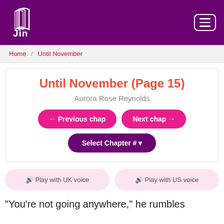[Figure (logo): Jin logo — stylized book pages with 'JIN' text in white on purple background, with hamburger menu icon top-right]
Home / Until November
Until November (Page 15)
Aurora Rose Reynolds
← Previous chap
Next chap →
Select Chapter # ▾
🔊 Play with UK voice
🔊 Play with US voice
“You’re not going anywhere,” he rumbles